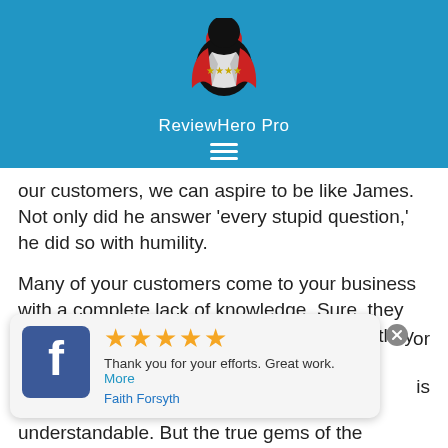[Figure (logo): ReviewHero Pro logo: silhouette of a superhero figure opening shirt to reveal stars, red cape accents, on blue background]
ReviewHero Pro
our customers, we can aspire to be like James. Not only did he answer 'every stupid question,' he did so with humility.
Many of your customers come to your business with a complete lack of knowledge. Sure, they may have done research on their own, but they expect your employees to be the expert.
[Figure (screenshot): Facebook review card: 5 gold stars, text 'Thank you for your efforts. Great work. More', reviewer name 'Faith Forsyth', Facebook icon on left, close button on right]
understandable. But the true gems of the